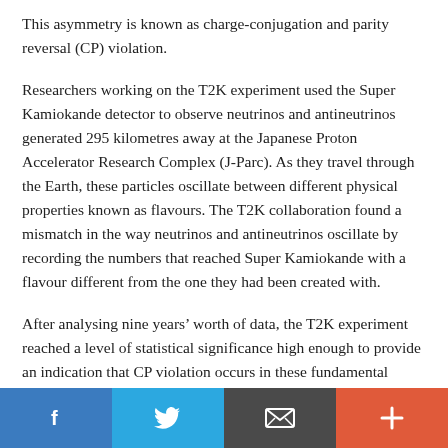This asymmetry is known as charge-conjugation and parity reversal (CP) violation.
Researchers working on the T2K experiment used the Super Kamiokande detector to observe neutrinos and antineutrinos generated 295 kilometres away at the Japanese Proton Accelerator Research Complex (J-Parc). As they travel through the Earth, these particles oscillate between different physical properties known as flavours. The T2K collaboration found a mismatch in the way neutrinos and antineutrinos oscillate by recording the numbers that reached Super Kamiokande with a flavour different from the one they had been created with.
After analysing nine years’ worth of data, the T2K experiment reached a level of statistical significance high enough to provide an indication that CP violation occurs in these fundamental particles. More precise measurements are needed to confirm